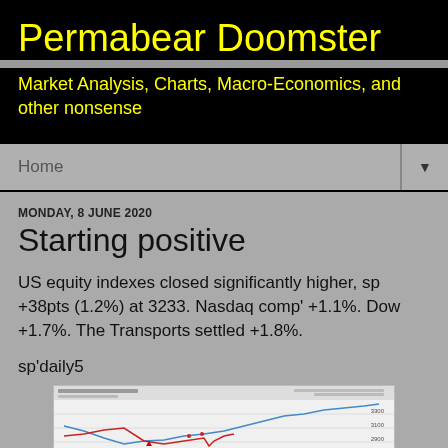Permabear Doomster
Market Analysis, Charts, Macro-Economics, and other nonsense
Home
MONDAY, 8 JUNE 2020
Starting positive
US equity indexes closed significantly higher, sp +38pts (1.2%) at 3233. Nasdaq comp' +1.1%. Dow +1.7%. The Transports settled +1.8%.
sp'daily5
[Figure (continuous-plot): Stock chart showing sp daily5 price trend with line going down then up, with red and blue lines on gray/white background]